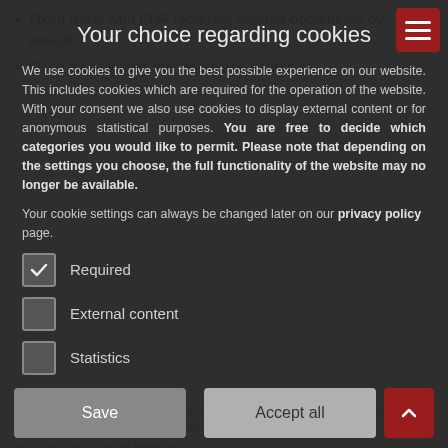Fixed issue with PDF recurring expired documents by default.
Fixed issue where the workplace search
Your choice regarding cookies
We use cookies to give you the best possible experience on our website. This includes cookies which are required for the operation of the website. With your consent we also use cookies to display external content or for anonymous statistical purposes. You are free to decide which categories you would like to permit. Please note that depending on the settings you choose, the full functionality of the website may no longer be available.
Your cookie settings can always be changed later on our privacy policy page.
Required
External content
Statistics